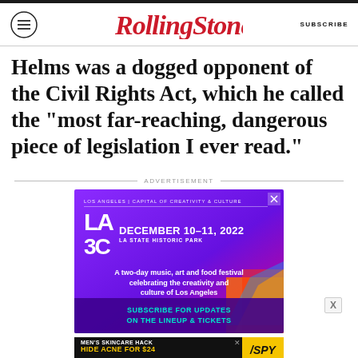RollingStone | SUBSCRIBE
Helms was a dogged opponent of the Civil Rights Act, which he called the “most far-reaching, dangerous piece of legislation I ever read.”
ADVERTISEMENT
[Figure (illustration): LA3C advertisement: LOS ANGELES | CAPITAL OF CREATIVITY & CULTURE, DECEMBER 10-11, 2022, LA STATE HISTORIC PARK. A two-day music, art and food festival celebrating the creativity and culture of Los Angeles. SUBSCRIBE FOR UPDATES ON THE LINEUP & TICKETS.]
[Figure (illustration): SPY advertisement: MEN’S SKINCARE HACK HIDE ACNE FOR $24, SPY logo]